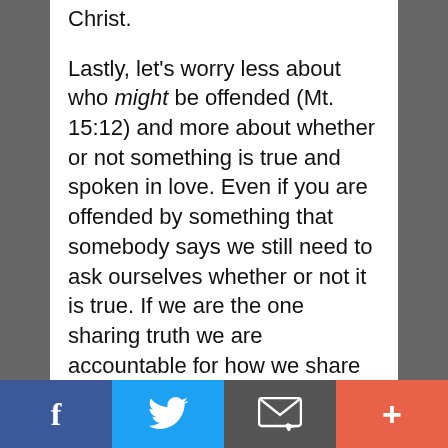Christ.
Lastly, let's worry less about who might be offended (Mt. 15:12) and more about whether or not something is true and spoken in love. Even if you are offended by something that somebody says we still need to ask ourselves whether or not it is true. If we are the one sharing truth we are accountable for how we share that truth (in love). Don't confuse those responsibilities.
I'm pleading with the church. Can we please not drink this cultural Kool-Aid? Will
f  [Twitter bird]  [Email icon]  +